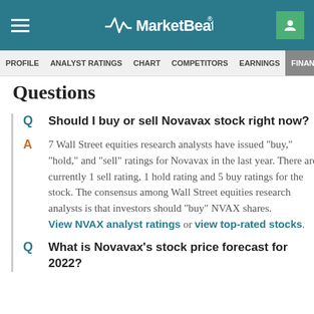MarketBeat
PROFILE  ANALYST RATINGS  CHART  COMPETITORS  EARNINGS  FINANCIALS
Questions
Q  Should I buy or sell Novavax stock right now?
A  7 Wall Street equities research analysts have issued "buy," "hold," and "sell" ratings for Novavax in the last year. There are currently 1 sell rating, 1 hold rating and 5 buy ratings for the stock. The consensus among Wall Street equities research analysts is that investors should "buy" NVAX shares. View NVAX analyst ratings or view top-rated stocks.
Q  What is Novavax's stock price forecast for 2022?